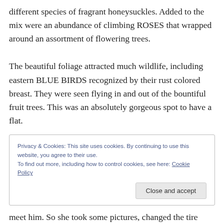different species of fragrant honeysuckles. Added to the mix were an abundance of climbing ROSES that wrapped around an assortment of flowering trees.
The beautiful foliage attracted much wildlife, including eastern BLUE BIRDS recognized by their rust colored breast. They were seen flying in and out of the bountiful fruit trees. This was an absolutely gorgeous spot to have a flat.
Privacy & Cookies: This site uses cookies. By continuing to use this website, you agree to their use.
To find out more, including how to control cookies, see here: Cookie Policy
[Close and accept]
meet him. So she took some pictures, changed the tire